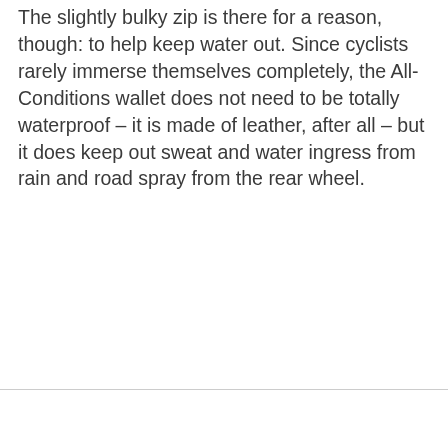The slightly bulky zip is there for a reason, though: to help keep water out. Since cyclists rarely immerse themselves completely, the All-Conditions wallet does not need to be totally waterproof – it is made of leather, after all – but it does keep out sweat and water ingress from rain and road spray from the rear wheel.